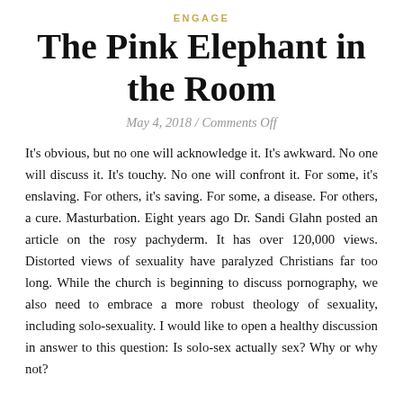ENGAGE
The Pink Elephant in the Room
May 4, 2018 / Comments Off
It's obvious, but no one will acknowledge it. It's awkward. No one will discuss it. It's touchy. No one will confront it. For some, it's enslaving. For others, it's saving. For some, a disease. For others, a cure. Masturbation. Eight years ago Dr. Sandi Glahn posted an article on the rosy pachyderm. It has over 120,000 views. Distorted views of sexuality have paralyzed Christians far too long. While the church is beginning to discuss pornography, we also need to embrace a more robust theology of sexuality, including solo-sexuality. I would like to open a healthy discussion in answer to this question: Is solo-sex actually sex? Why or why not?